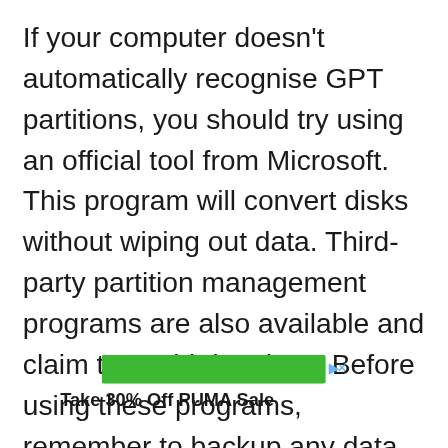If your computer doesn't automatically recognise GPT partitions, you should try using an official tool from Microsoft. This program will convert disks without wiping out data. Third-party partition management programs are also available and claim to avoid data loss. Before using these programs, remember to backup any data on the disk. In any case, the conversion will not work without the partition manager. So, if you need to use
[Figure (other): Green advertisement banner bar with play and close icons on the right side]
Take 30% Off PUMA Sale